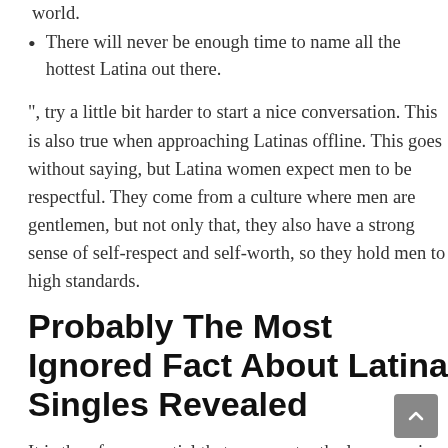world.
There will never be enough time to name all the hottest Latina out there.
", try a little bit harder to start a nice conversation. This is also true when approaching Latinas offline. This goes without saying, but Latina women expect men to be respectful. They come from a culture where men are gentlemen, but not only that, they also have a strong sense of self-respect and self-worth, so they hold men to high standards.
Probably The Most Ignored Fact About Latina Singles Revealed
It is therefore essential that you master the language in order to make new friends when you are interacting with her. Yet , you can just grasp one dialect and be ready to be able to speak to any Latina woman.